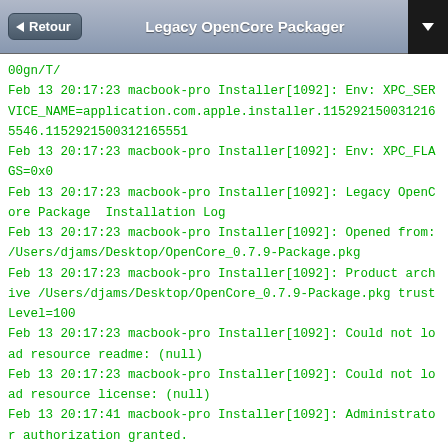Retour  Legacy OpenCore Packager
00gn/T/
Feb 13 20:17:23 macbook-pro Installer[1092]: Env: XPC_SERVICE_NAME=application.com.apple.installer.1152921500312165546.1152921500312165551
Feb 13 20:17:23 macbook-pro Installer[1092]: Env: XPC_FLAGS=0x0
Feb 13 20:17:23 macbook-pro Installer[1092]: Legacy OpenCore Package  Installation Log
Feb 13 20:17:23 macbook-pro Installer[1092]: Opened from: /Users/djams/Desktop/OpenCore_0.7.9-Package.pkg
Feb 13 20:17:23 macbook-pro Installer[1092]: Product archive /Users/djams/Desktop/OpenCore_0.7.9-Package.pkg trustLevel=100
Feb 13 20:17:23 macbook-pro Installer[1092]: Could not load resource readme: (null)
Feb 13 20:17:23 macbook-pro Installer[1092]: Could not load resource license: (null)
Feb 13 20:17:41 macbook-pro Installer[1092]: Administrator authorization granted.
Feb 13 20:17:41 macbook-pro Installer[1092]: ================================================================================
Feb 13 20:17:41 macbook-pro Installer[1092]: User